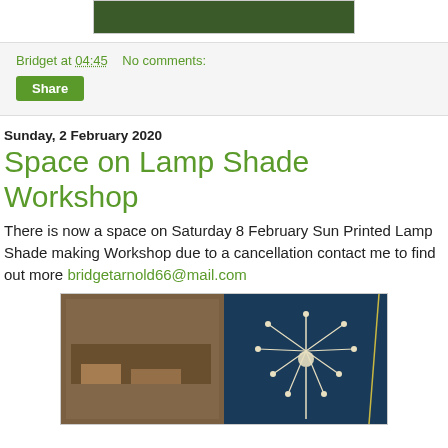[Figure (photo): Partial top image of plants/greenery, cropped at top of page]
Bridget at 04:45    No comments:
Share
Sunday, 2 February 2020
Space on Lamp Shade Workshop
There is now a space on Saturday 8 February Sun Printed Lamp Shade making Workshop due to a cancellation contact me to find out more bridgetarnold66@mail.com
[Figure (photo): Two photos side by side: left shows people working on sun printing craft on a table; right shows a dark blue lampshade with a white dandelion print pattern]